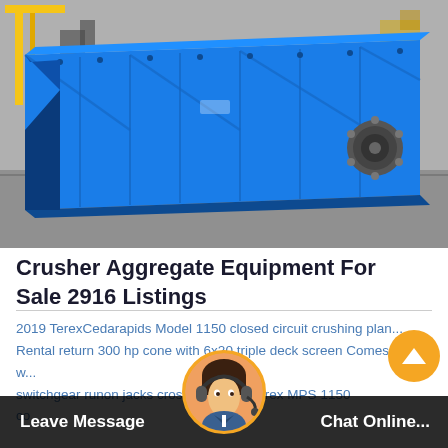[Figure (photo): A large blue industrial vibrating screen / aggregate equipment photographed in a warehouse/factory setting with yellow cranes visible in the background and concrete floor below.]
Crusher Aggregate Equipment For Sale 2916 Listings
2019 TerexCedarapids Model 1150 closed circuit crushing plan... Rental return 300 hp cone with 6x20 triple deck screen Comes w... switchgear runon jacks cross... Has the Terex MPS 1150 co...medium co...ganese Lo...